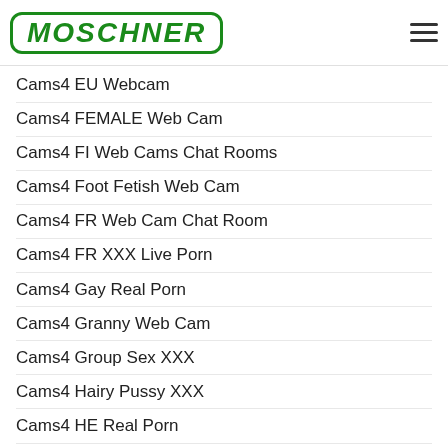MOSCHNER
Cams4 EU Webcam
Cams4 FEMALE Web Cam
Cams4 FI Web Cams Chat Rooms
Cams4 Foot Fetish Web Cam
Cams4 FR Web Cam Chat Room
Cams4 FR XXX Live Porn
Cams4 Gay Real Porn
Cams4 Granny Web Cam
Cams4 Group Sex XXX
Cams4 Hairy Pussy XXX
Cams4 HE Real Porn
Cams4 HE Web Cam Chat